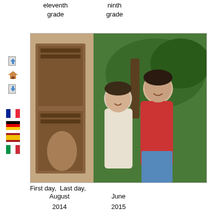eleventh grade   ninth grade
[Figure (photo): Two teenagers smiling together, a girl in a white knit sweater and a boy in a red t-shirt, standing outdoors with tropical greenery in the background. Left side shows an indoor scene with decorative wooden furniture.]
First day, August 2014   Last day, June 2015